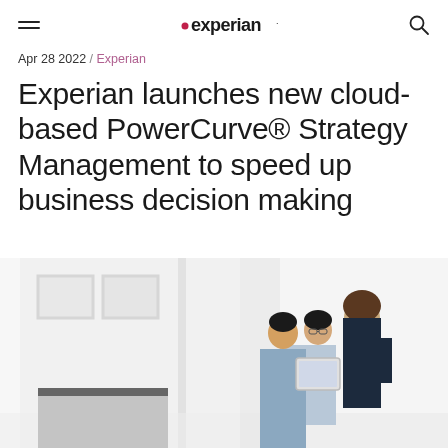Experian
Apr 28 2022 / Experian
Experian launches new cloud-based PowerCurve® Strategy Management to speed up business decision making
[Figure (photo): Three business professionals in a bright office environment looking at a tablet device together. The photo is a hero image for the article.]